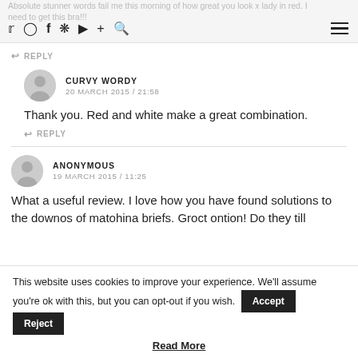Absolute stunner words fail me this morning of how great you look x lady in red. I need to get this bra!!!
↩ REPLY
CURVY WORDY
20 MARCH 2015 / 21:58
Thank you. Red and white make a great combination.
↩ REPLY
ANONYMOUS
19 MARCH 2015 / 11:25
What a useful review. I love how you have found solutions to the downos of matohina briefs. Groct ontion! Do they till
This website uses cookies to improve your experience. We'll assume you're ok with this, but you can opt-out if you wish.
Read More